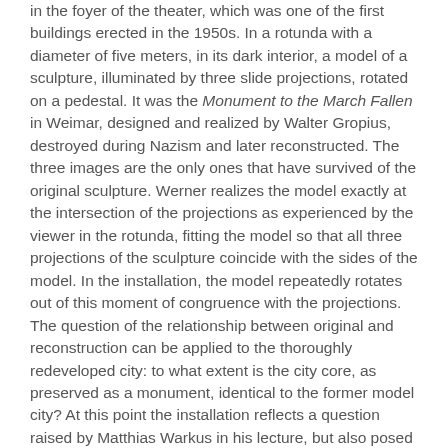in the foyer of the theater, which was one of the first buildings erected in the 1950s. In a rotunda with a diameter of five meters, in its dark interior, a model of a sculpture, illuminated by three slide projections, rotated on a pedestal. It was the Monument to the March Fallen in Weimar, designed and realized by Walter Gropius, destroyed during Nazism and later reconstructed. The three images are the only ones that have survived of the original sculpture. Werner realizes the model exactly at the intersection of the projections as experienced by the viewer in the rotunda, fitting the model so that all three projections of the sculpture coincide with the sides of the model. In the installation, the model repeatedly rotates out of this moment of congruence with the projections. The question of the relationship between original and reconstruction can be applied to the thoroughly redeveloped city: to what extent is the city core, as preserved as a monument, identical to the former model city? At this point the installation reflects a question raised by Matthias Warkus in his lecture, but also posed in Samantha Fox's contribution.
Paul Landon designed the plan of an infinite city that totalizes the spatial configuration of Eisenhüttenstadt, following